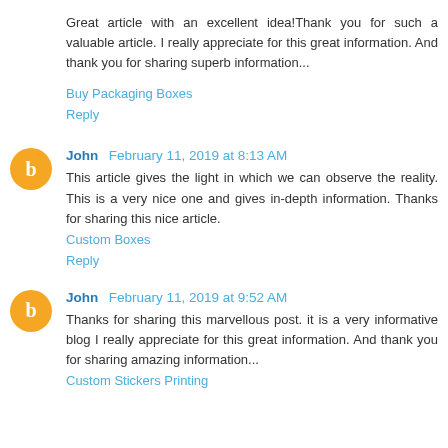Great article with an excellent idea!Thank you for such a valuable article. I really appreciate for this great information. And thank you for sharing superb information...
Buy Packaging Boxes
Reply
John February 11, 2019 at 8:13 AM
This article gives the light in which we can observe the reality. This is a very nice one and gives in-depth information. Thanks for sharing this nice article.
Custom Boxes
Reply
John February 11, 2019 at 9:52 AM
Thanks for sharing this marvellous post. it is a very informative blog I really appreciate for this great information. And thank you for sharing amazing information...
Custom Stickers Printing